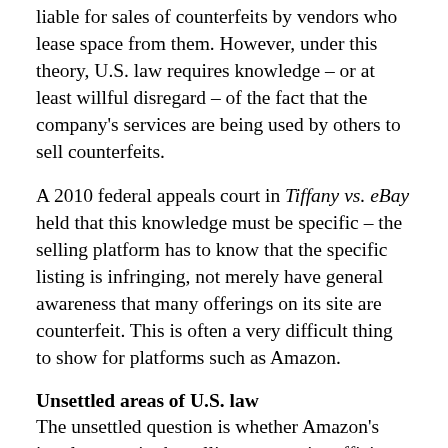liable for sales of counterfeits by vendors who lease space from them. However, under this theory, U.S. law requires knowledge – or at least willful disregard – of the fact that the company's services are being used by others to sell counterfeits.
A 2010 federal appeals court in Tiffany vs. eBay held that this knowledge must be specific – the selling platform has to know that the specific listing is infringing, not merely have general awareness that many offerings on its site are counterfeit. This is often a very difficult thing to show for platforms such as Amazon.
Unsettled areas of U.S. law
The unsettled question is whether Amazon's involvement in the selling process is sufficient to impose liability, without showing Amazon's specific knowledge.
It is certainly true that Amazon is much more involved